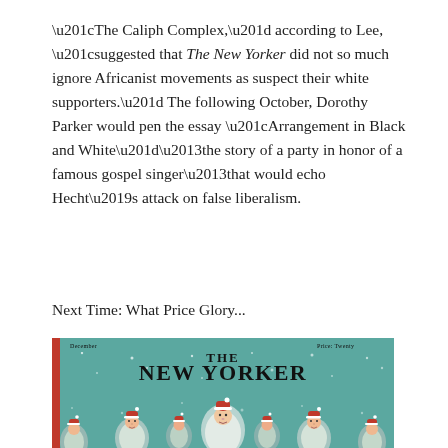“The Caliph Complex,” according to Lee, “suggested that The New Yorker did not so much ignore Africanist movements as suspect their white supporters.” The following October, Dorothy Parker would pen the essay “Arrangement in Black and White”–the story of a party in honor of a famous gospel singer–that would echo Hecht’s attack on false liberalism.
Next Time: What Price Glory...
[Figure (illustration): The New Yorker magazine cover showing multiple Santa Claus-like figures with long white beards and red hats on a teal/green background with snowflakes. The masthead reads 'THE NEW YORKER' with 'December' and 'Price' text at the top.]